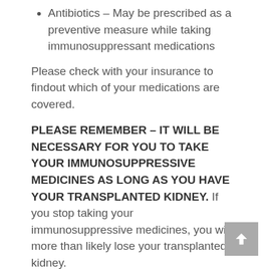Antibiotics – May be prescribed as a preventive measure while taking immunosuppressant medications
Please check with your insurance to findout which of your medications are covered.
PLEASE REMEMBER – IT WILL BE NECESSARY FOR YOU TO TAKE YOUR IMMUNOSUPPRESSIVE MEDICINES AS LONG AS YOU HAVE YOUR TRANSPLANTED KIDNEY. If you stop taking your immunosuppressive medicines, you will more than likely lose your transplanted kidney.
What is rejection?
Rejection is the body's natural tendency to fight